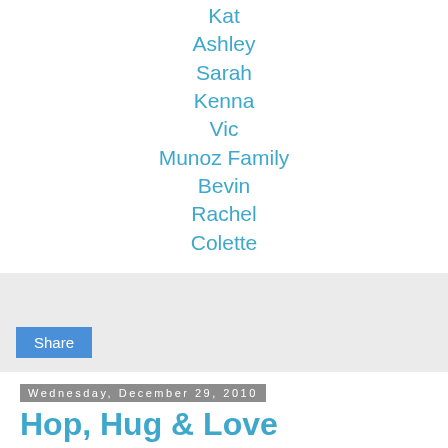Kat
Ashley
Sarah
Kenna
Vic
Munoz Family
Bevin
Rachel
Colette
[Figure (other): Share button widget on gray background]
Wednesday, December 29, 2010
Hop, Hug & Love Thursday
Join in on Hug & Love Thursday. Feel free to pass the message along, spread the word, spread LOVE!
Happy Thursday to all you beautiful blogger friends! This is such an amazing community and I feel we're all family. We